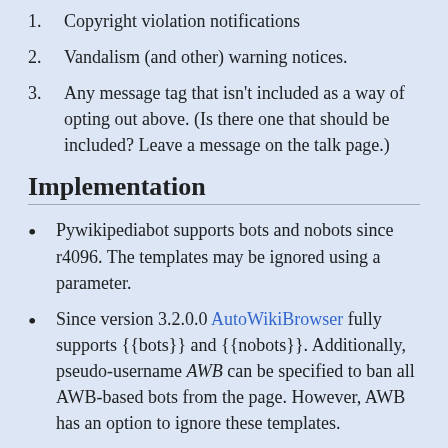1. Copyright violation notifications
2. Vandalism (and other) warning notices.
3. Any message tag that isn't included as a way of opting out above. (Is there one that should be included? Leave a message on the talk page.)
Implementation
Pywikipediabot supports bots and nobots since r4096. The templates may be ignored using a parameter.
Since version 3.2.0.0 AutoWikiBrowser fully supports {{bots}} and {{nobots}}. Additionally, pseudo-username AWB can be specified to ban all AWB-based bots from the page. However, AWB has an option to ignore these templates.
Opt out message notification was introduced here